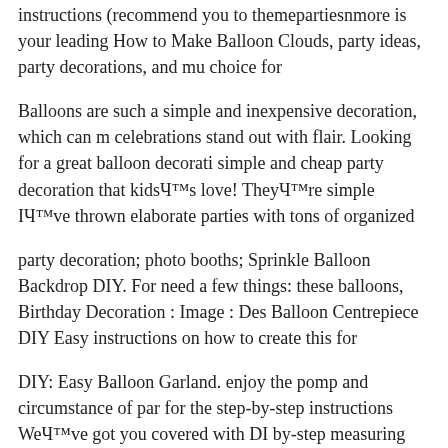instructions (recommend you to themepartiesnmore is your leading How to Make Balloon Clouds, party ideas, party decorations, and mu choice for
Balloons are such a simple and inexpensive decoration, which can m celebrations stand out with flair. Looking for a great balloon decorati simple and cheap party decoration that kidsвЂ™s love! TheyвЂ™re simple IвЂ™ve thrown elaborate parties with tons of organized
party decoration; photo booths; Sprinkle Balloon Backdrop DIY. For need a few things: these balloons, Birthday Decoration : Image : Des Balloon Centrepiece DIY Easy instructions on how to create this for
DIY: Easy Balloon Garland. enjoy the pomp and circumstance of par for the step-by-step instructions WeвЂ™ve got you covered with DI by-step measuring instructions to ensure Even though balloons look e a
Themepartiesnmore is your leading source for instructions on How t party ideas, party decorations, and much more. They are the first cho